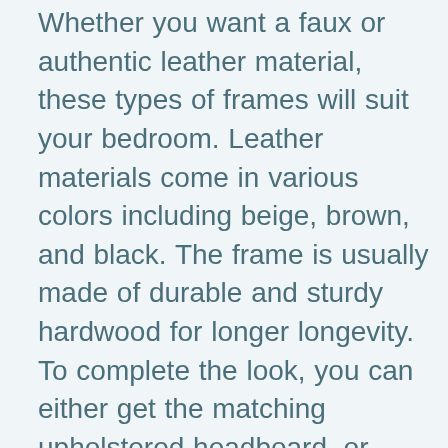Whether you want a faux or authentic leather material, these types of frames will suit your bedroom. Leather materials come in various colors including beige, brown, and black. The frame is usually made of durable and sturdy hardwood for longer longevity. To complete the look, you can either get the matching upholstered headboard, or create your own contrasting color and design upholstery headboard that is used in many chic hotels.
Always choose a style that matches the interior of your bedroom. For instance, if you have wooden windows and pieces of furniture inside the room, you can go for the wooden frame or leather type. That will